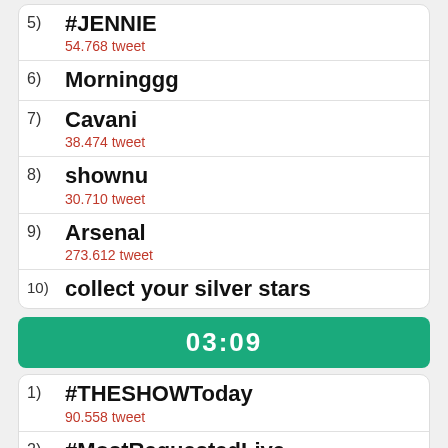5) #JENNIE
54.768 tweet
6) Morninggg
7) Cavani
38.474 tweet
8) shownu
30.710 tweet
9) Arsenal
273.612 tweet
10) collect your silver stars
03:09
1) #THESHOWToday
90.558 tweet
2) #MostRequestedLive
27.153 tweet
3) #NobodyForMeantYou